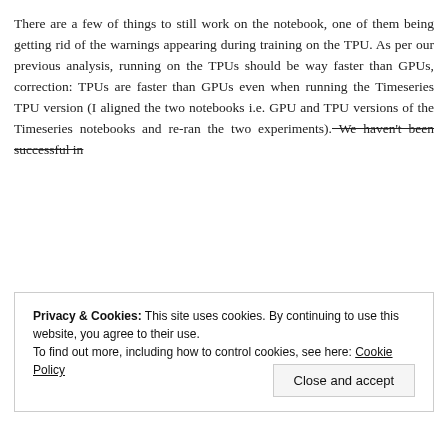There are a few of things to still work on the notebook, one of them being getting rid of the warnings appearing during training on the TPU. As per our previous analysis, running on the TPUs should be way faster than GPUs, correction: TPUs are faster than GPUs even when running the Timeseries TPU version (I aligned the two notebooks i.e. GPU and TPU versions of the Timeseries notebooks and re-ran the two experiments). We haven't been successful in
Privacy & Cookies: This site uses cookies. By continuing to use this website, you agree to their use.
To find out more, including how to control cookies, see here: Cookie Policy
Close and accept